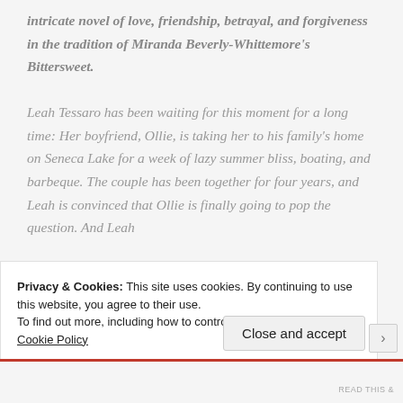intricate novel of love, friendship, betrayal, and forgiveness in the tradition of Miranda Beverly-Whittemore's Bittersweet. Leah Tessaro has been waiting for this moment for a long time: Her boyfriend, Ollie, is taking her to his family's home on Seneca Lake for a week of lazy summer bliss, boating, and barbeque. The couple has been together for four years, and Leah is convinced that Ollie is finally going to pop the question. And Leah
Privacy & Cookies: This site uses cookies. By continuing to use this website, you agree to their use. To find out more, including how to control cookies, see here: Cookie Policy
Close and accept